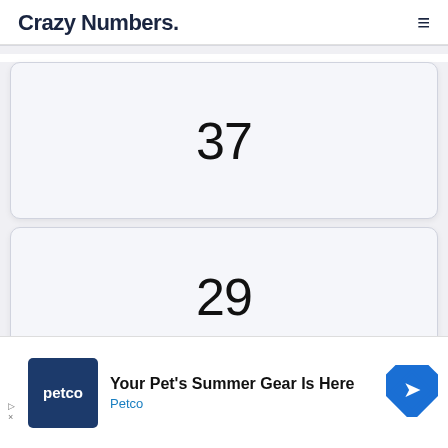Crazy Numbers.
37
29
[Figure (screenshot): Petco advertisement banner: 'Your Pet's Summer Gear Is Here' with Petco logo and navigation arrow icon]